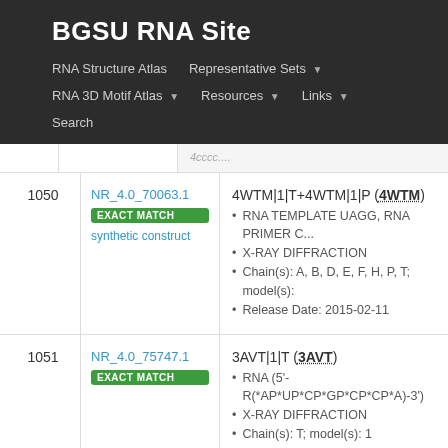BGSU RNA Site
RNA Structure Atlas | Representative Sets | RNA 3D Motif Atlas | Resources | Links | Search
| # | NR ID / Source | Structure |
| --- | --- | --- |
| 1050 | NR_4.0_70063.1 EXACT MATCH synthetic construct | 4WTM|1|T+4WTM|1|P (4WTM) • RNA TEMPLATE UAGG, RNA PRIMER C... • X-RAY DIFFRACTION • Chain(s): A, B, D, E, F, H, P, T; model(s): ... • Release Date: 2015-02-11 |
| 1051 | NR_4.0_75747.1 EXACT MATCH | 3AVT|1|T (3AVT) • RNA (5'-R(*AP*UP*CP*GP*CP*CP*A)-3') • X-RAY DIFFRACTION • Chain(s): T; model(s): 1 • Release Date: 2012-01-18 |
| 1052 | NR_4.0_78107.1 | 2F4V|1|Z (2F4V) |